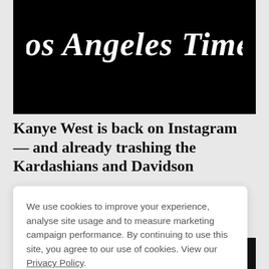[Figure (logo): Los Angeles Times masthead logo in white text on black background, blackletter/gothic font style]
Kanye West is back on Instagram — and already trashing the Kardashians and Davidson
We use cookies to improve your experience, analyse site usage and to measure marketing campaign performance. By continuing to use this site, you agree to our use of cookies. View our Privacy Policy.
ACCEPT
[Figure (logo): Los Angeles Times masthead logo in gray/white text on black background, partially visible at bottom]